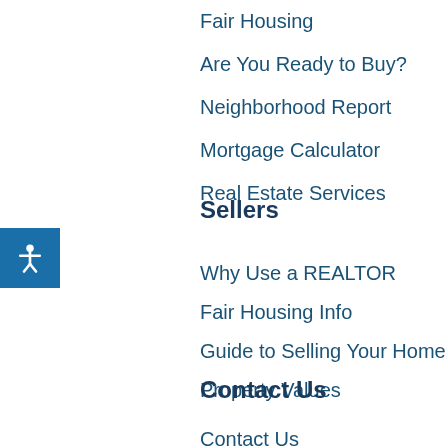Fair Housing
Are You Ready to Buy?
Neighborhood Report
Mortgage Calculator
Real Estate Services
Sellers
Why Use a REALTOR
Fair Housing Info
Guide to Selling Your Home
Property Values
Contact Us
Contact Us
About RILiving